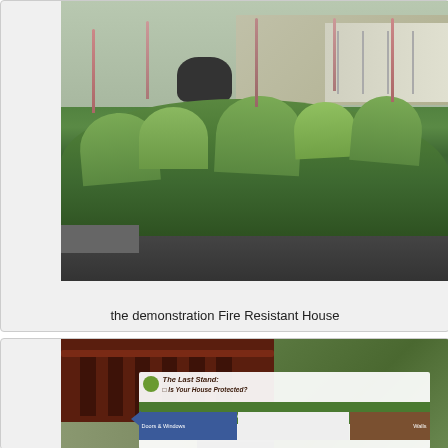[Figure (photo): Outdoor photograph showing lush green garden plants and shrubs in front of a building with a ramp/railing structure visible at the demonstration Fire Resistant House]
the demonstration Fire Resistant House
[Figure (photo): Photograph of a dark reddish-brown wooden deck railing with a sign reading 'The Last Stand: Is Your House Protected?' and 'Oregon Garden Fire Safety House' with sections labeled 'Doors & Windows' and 'Walls']